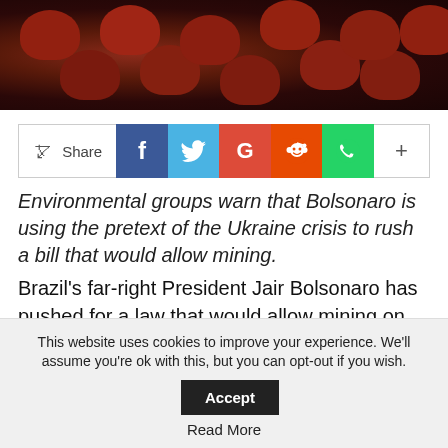[Figure (photo): Close-up photo of dark red/brown mushroom or flower shapes against a dark background]
[Figure (infographic): Social sharing bar with Share button, Facebook, Twitter, Google+, Reddit, WhatsApp, and more (+) buttons]
Environmental groups warn that Bolsonaro is using the pretext of the Ukraine crisis to rush a bill that would allow mining.
Brazil's far-right President Jair Bolsonaro has pushed for a law that would allow mining on Indigenous reservations, seizing on global fertiliser shortages caused by the Ukraine war
This website uses cookies to improve your experience. We'll assume you're ok with this, but you can opt-out if you wish.
Accept
Read More